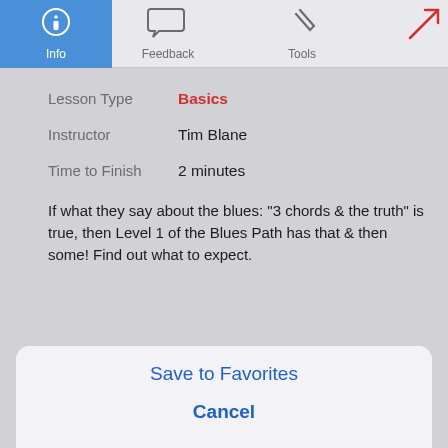[Figure (screenshot): Mobile app tab bar with Info (active/blue), Feedback, Tools tabs and a red arrow icon on the right]
Lesson Type: Basics
Instructor: Tim Blane
Time to Finish: 2 minutes
If what they say about the blues: "3 chords & the truth" is true, then Level 1 of the Blues Path has that & then some! Find out what to expect.
Save to Favorites
Completed (Undo)
Cancel